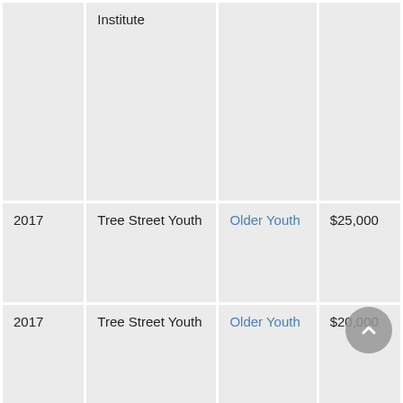| Year | Organization | Focus Area | Amount |
| --- | --- | --- | --- |
|  | Institute |  |  |
| 2017 | Tree Street Youth | Older Youth | $25,000 |
| 2017 | Tree Street Youth | Older Youth | $20,000 |